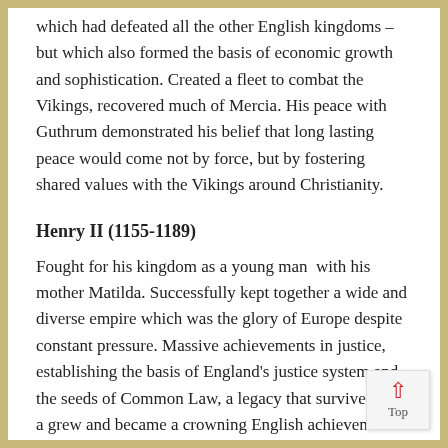which had defeated all the other English kingdoms – but which also formed the basis of economic growth and sophistication. Created a fleet to combat the Vikings, recovered much of Mercia. His peace with Guthrum demonstrated his belief that long lasting peace would come not by force, but by fostering shared values with the Vikings around Christianity.
Henry II (1155-1189)
Fought for his kingdom as a young man  with his mother Matilda. Successfully kept together a wide and diverse empire which was the glory of Europe despite constant pressure. Massive achievements in justice, establishing the basis of England's justice system and the seeds of Common Law, a legacy that survived him a grew and became a crowning English achievement. Failed to control his vainglorious Archbishop and his contemporary reputation